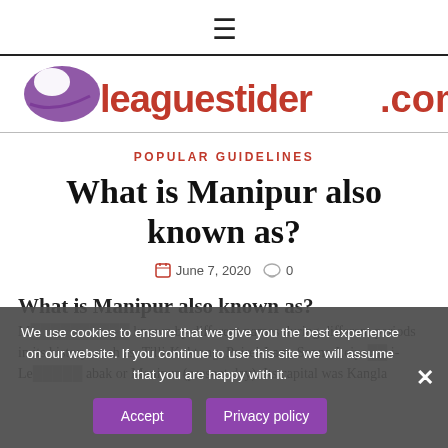≡
[Figure (logo): Leaguestider.com logo with purple bird icon and pink/purple text]
POPULAR GUIDELINES
What is Manipur also known as?
June 7, 2020  0
What is Manipur also known as?
Manipur was known by different names during different periods in its history, such as, Tilli-Koktong, Poirei-Lam, Sanna-Leipak, i-Le... abak or Manipur (present day). Its capital was Kangla.
We use cookies to ensure that we give you the best experience on our website. If you continue to use this site we will assume that you are happy with it.